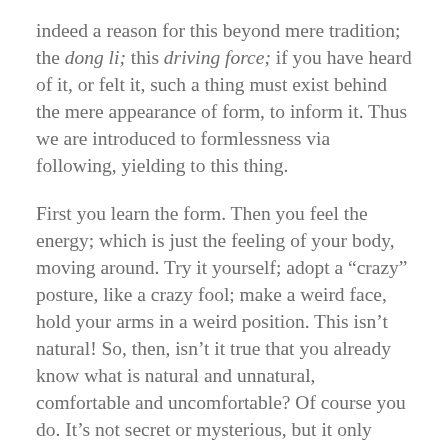indeed a reason for this beyond mere tradition; the dong li; this driving force; if you have heard of it, or felt it, such a thing must exist behind the mere appearance of form, to inform it. Thus we are introduced to formlessness via following, yielding to this thing.
First you learn the form. Then you feel the energy; which is just the feeling of your body, moving around. Try it yourself; adopt a “crazy” posture, like a crazy fool; make a weird face, hold your arms in a weird position. This isn’t natural! So, then, isn’t it true that you already know what is natural and unnatural, comfortable and uncomfortable? Of course you do. It’s not secret or mysterious, but it only comes from long practice.
With this energy you will begin to be able to correct